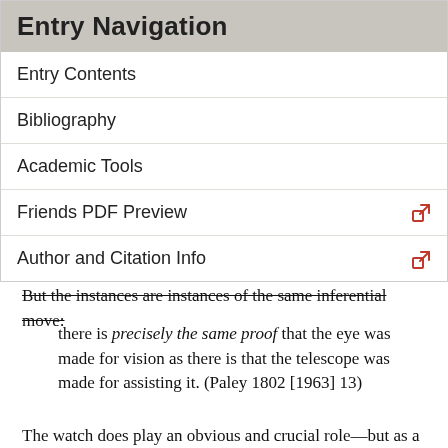Entry Navigation
Entry Contents
Bibliography
Academic Tools
Friends PDF Preview
Author and Citation Info
But the instances are instances of the same inferential move:
there is precisely the same proof that the eye was made for vision as there is that the telescope was made for assisting it. (Paley 1802 [1963] 13)
The watch does play an obvious and crucial role—but as a paradigmatic instance of design inferences rather than as the analogical foundation for an inferential comparison.
Schema 2, not being analogically structured, would not be vulnerable to the ills of analogy[4] and not being